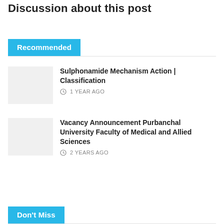Discussion about this post
Recommended
Sulphonamide Mechanism Action | Classification
1 YEAR AGO
Vacancy Announcement Purbanchal University Faculty of Medical and Allied Sciences
2 YEARS AGO
Don't Miss